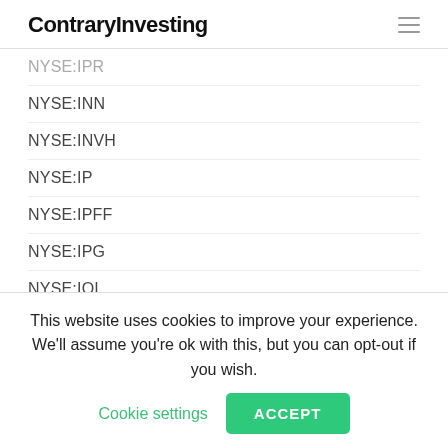ContraryInvesting
NYSE:INN
NYSE:INVH
NYSE:IP
NYSE:IPFF
NYSE:IPG
NYSE:IQI
NYSE:IR
NYSE:IRBO
This website uses cookies to improve your experience. We'll assume you're ok with this, but you can opt-out if you wish. Cookie settings ACCEPT